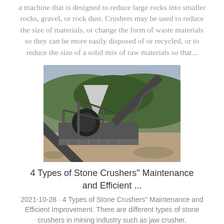a machine that is designed to reduce large rocks into smaller rocks, gravel, or rock dust. Crushers may be used to reduce the size of materials, or change the form of waste materials so they can be more easily disposed of or recycled, or to reduce the size of a solid mix of raw materials so that...
[Figure (photo): Aerial/elevated view of a stone crusher industrial facility with conveyor belts, crusher machinery, hopper, and surrounding muddy terrain with forested hills in the background.]
4 Types of Stone Crushers" Maintenance and Efficient ...
2021-10-28 · 4 Types of Stone Crushers" Maintenance and Efficient Improvement. There are different types of stone crushers in mining industry such as jaw crusher,